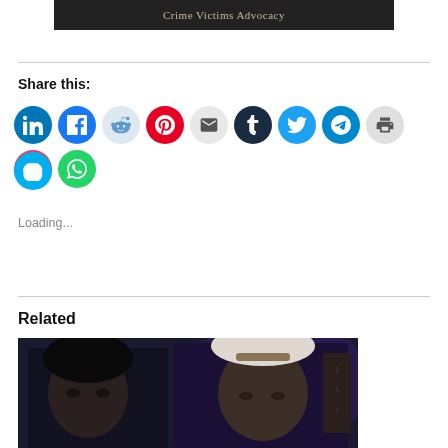[Figure (photo): Banner image with dark background and text 'Crime Victims Advocacy' in serif font]
Share this:
[Figure (infographic): Row of social media share icons: LinkedIn, Facebook, Reddit, Pinterest, Email, Tumblr, Twitter, Telegram, Print, Pocket, WhatsApp, Skype]
Loading...
Related
[Figure (photo): Photo of two dark fantasy characters side by side against a dark blue/purple background]